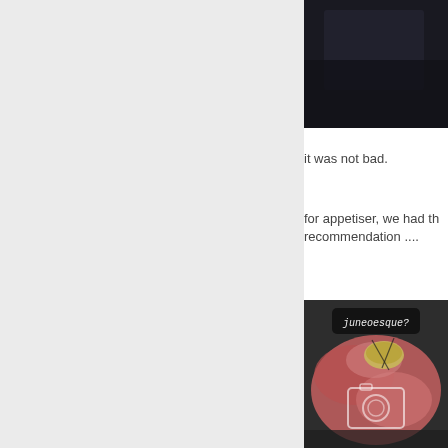[Figure (photo): Dark background photo, partially visible at top right]
it was not bad.
for appetiser, we had th recommendation ....
[Figure (photo): Food photo showing charcuterie/ham appetiser dish on dark plate with a label tag reading 'juneoesque?' and a camera icon overlay]